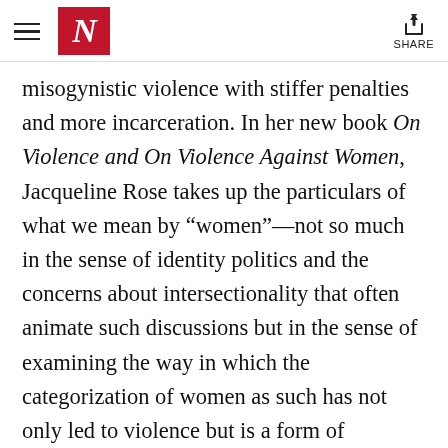N | SHARE
misogynistic violence with stiffer penalties and more incarceration. In her new book On Violence and On Violence Against Women, Jacqueline Rose takes up the particulars of what we mean by “women”—not so much in the sense of identity politics and the concerns about intersectionality that often animate such discussions but in the sense of examining the way in which the categorization of women as such has not only led to violence but is a form of violence itself. A thinker with an uncanny ability to write in a spirit of feminist solidarity without